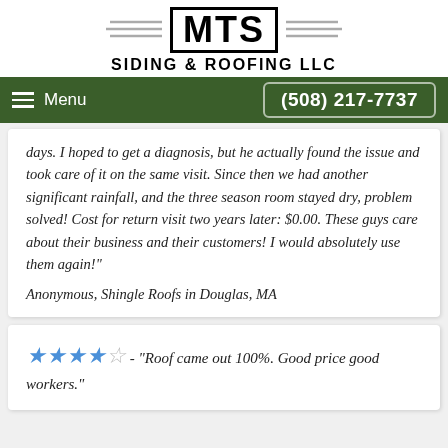[Figure (logo): MTS Siding & Roofing LLC logo with wing decorations on either side of a black-bordered box containing 'MTS' in bold, with 'SIDING & ROOFING LLC' below]
Menu   (508) 217-7737
days. I hoped to get a diagnosis, but he actually found the issue and took care of it on the same visit. Since then we had another significant rainfall, and the three season room stayed dry, problem solved! Cost for return visit two years later: $0.00. These guys care about their business and their customers! I would absolutely use them again!"
Anonymous, Shingle Roofs in Douglas, MA
★★★★☆ - "Roof came out 100%. Good price good workers."